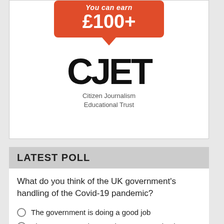[Figure (illustration): Advertisement box with orange speech bubble showing 'You can earn £100+' text, and CJET (Citizen Journalism Educational Trust) logo below]
LATEST POLL
What do you think of the UK government's handling of the Covid-19 pandemic?
The government is doing a good job
The government has made too many mistakes
I don't know. I feel overwhelmed by the